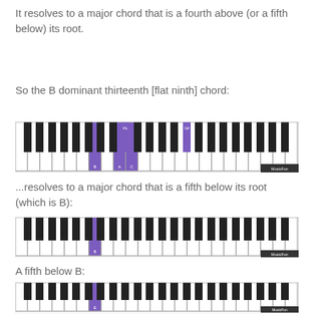It resolves to a major chord that is a fourth above (or a fifth below) its root.
So the B dominant thirteenth [flat ninth] chord:
[Figure (illustration): Piano keyboard diagram showing B dominant thirteenth flat ninth chord with highlighted keys: B (white), A (white), C (white), and black keys Fb and G# highlighted in purple]
...resolves to a major chord that is a fifth below its root (which is B):
[Figure (illustration): Piano keyboard diagram showing a single highlighted key B in purple]
A fifth below B:
[Figure (illustration): Piano keyboard diagram showing a single highlighted key in purple (E, a fifth below B)]